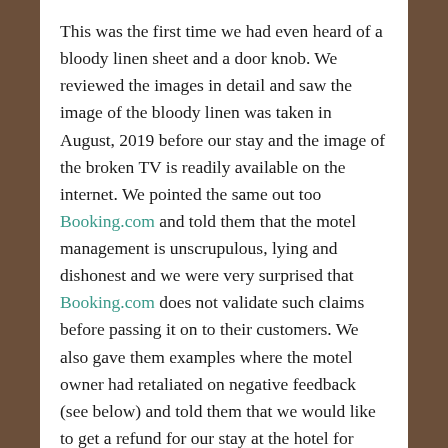This was the first time we had even heard of a bloody linen sheet and a door knob. We reviewed the images in detail and saw the image of the bloody linen was taken in August, 2019 before our stay and the image of the broken TV is readily available on the internet. We pointed the same out too Booking.com and told them that the motel management is unscrupulous, lying and dishonest and we were very surprised that Booking.com does not validate such claims before passing it on to their customers. We also gave them examples where the motel owner had retaliated on negative feedback (see below) and told them that we would like to get a refund for our stay at the hotel for making us go through this terrible after stay experience which stressed